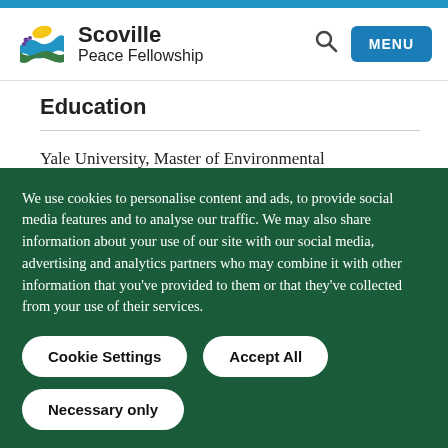Scoville Peace Fellowship
Education
Yale University, Master of Environmental Management, 2013
Sarah Lawrence College, BA Environmental
We use cookies to personalise content and ads, to provide social media features and to analyse our traffic. We may also share information about your use of our site with our social media, advertising and analytics partners who may combine it with other information that you've provided to them or that they've collected from your use of their services.
Cookie Settings | Accept All | Necessary only